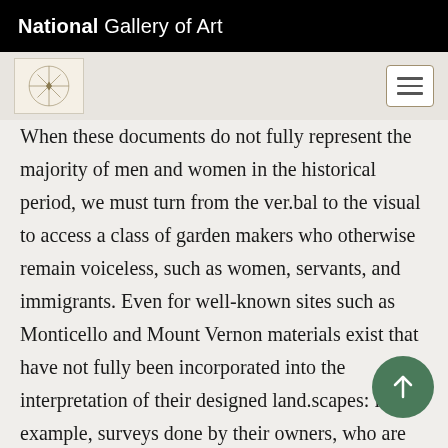National Gallery of Art
When these documents do not fully represent the majority of men and women in the historical period, we must turn from the ver.bal to the visual to access a class of garden makers who otherwise remain voiceless, such as women, servants, and immigrants. Even for well-known sites such as Monticello and Mount Vernon materials exist that have not fully been incorporated into the interpretation of their designed land.scapes: for example, surveys done by their owners, who are representative of the cultural elite that was deeply involved in creating American landscape taste and in molding the landscape itself [Fig. 9]. American garden research has presented several his.toriographic problems. First is the record of scholarly comparison with